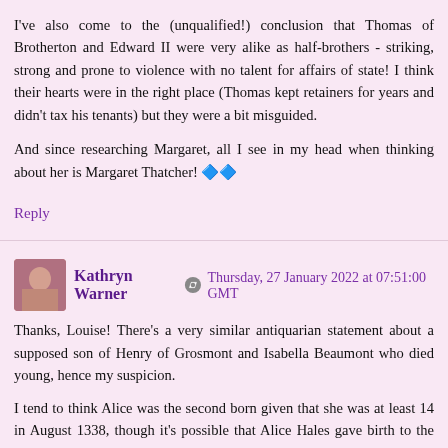I've also come to the (unqualified!) conclusion that Thomas of Brotherton and Edward II were very alike as half-brothers - striking, strong and prone to violence with no talent for affairs of state! I think their hearts were in the right place (Thomas kept retainers for years and didn't tax his tenants) but they were a bit misguided.
And since researching Margaret, all I see in my head when thinking about her is Margaret Thatcher! 🔷🔷
Reply
Kathryn Warner  Thursday, 27 January 2022 at 07:51:00 GMT
Thanks, Louise! There's a very similar antiquarian statement about a supposed son of Henry of Grosmont and Isabella Beaumont who died young, hence my suspicion.
I tend to think Alice was the second born given that she was at least 14 in August 1338, though it's possible that Alice Hales gave birth to the three in rapid succession and Edward did come...